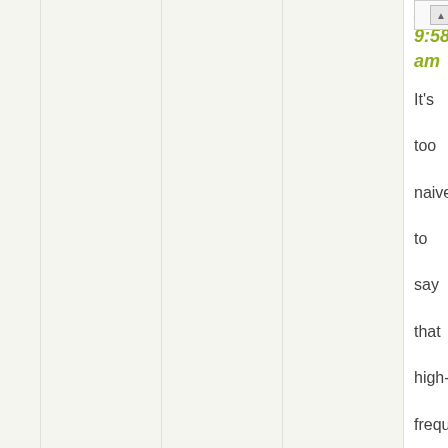2013 at 9:58 am
It's too naive to say that high-frequency trading has to be done with a specific language... it